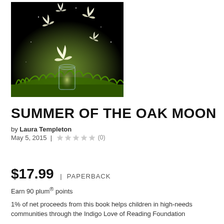[Figure (photo): Dark fantasy book cover showing glowing white butterflies flying out of a glass jar on green grass at night]
SUMMER OF THE OAK MOON
by Laura Templeton
May 5, 2015 | ★★★★★ (0)
$17.99 | PAPERBACK
Earn 90 plum® points
1% of net proceeds from this book helps children in high-needs communities through the Indigo Love of Reading Foundation